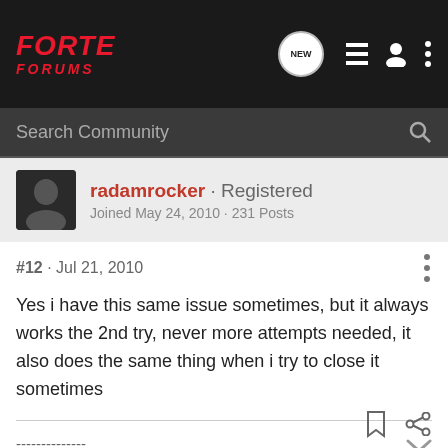FORTE FORUMS
Search Community
radamrocker · Registered
Joined May 24, 2010 · 231 Posts
#12 · Jul 21, 2010
Yes i have this same issue sometimes, but it always works the 2nd try, never more attempts needed, it also does the same thing when i try to close it sometimes
-------------- 
| Habs Blow |